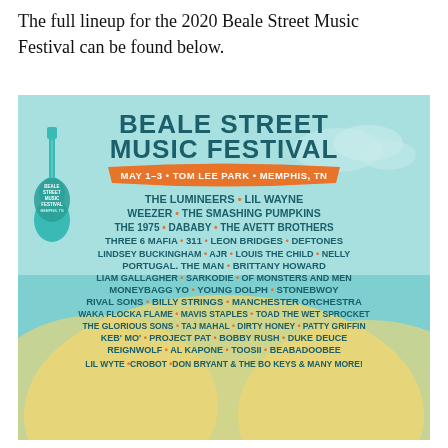The full lineup for the 2020 Beale Street Music Festival can be found below.
[Figure (infographic): Beale Street Music Festival 2020 lineup poster. Teal/sky blue background with yellow sun hills. Title: BEALE STREET MUSIC FESTIVAL. Subtitle banner: MAY 1-3 • TOM LEE PARK • MEMPHIS, TN. Guitar logo on left. Artists listed: The Lumineers • Lil Wayne, Weezer • The Smashing Pumpkins, The 1975 • DaBaby • The Avett Brothers, Three 6 Mafia • 311 • Leon Bridges • Deftones, Lindsey Buckingham • AJR • Louis The Child • Nelly, Portugal. The Man • Brittany Howard, Liam Gallagher • Sarkodie • Of Monsters And Men, Moneybagg Yo • Young Dolph • Stonebwoy, Rival Sons • Billy Strings • Manchester Orchestra, Waka Flocka Flame • Mavis Staples • Toad The Wet Sprocket, The Glorious Sons • Taj Mahal • Dirty Honey • Patty Griffin, Keb' Mo' • Project Pat • Bobby Rush • Duke Deuce, Reignwolf • Al Kapone • Toosii • Beabadoobee, Lil Wyte • Crobot • Don Bryant & The Bo Keys & Many More!]